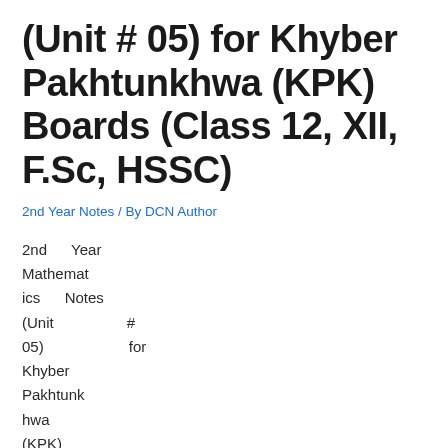(Unit # 05) for Khyber Pakhtunkhwa (KPK) Boards (Class 12, XII, F.Sc, HSSC)
2nd Year Notes / By DCN Author
2nd Year Mathematics Notes (Unit # 05) for Khyber Pakhtunkhwa (KPK) Boards (BISEs) for Class 12, XII, F.Sc, HSSC, Part-II that is also available...